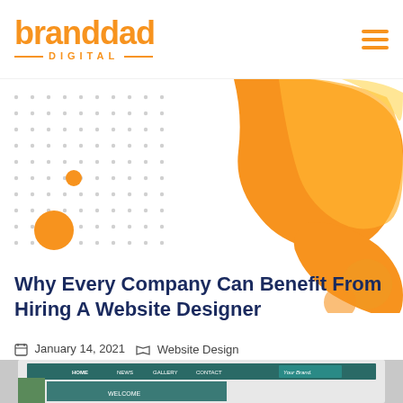[Figure (logo): Branddad Digital logo in orange with horizontal lines flanking DIGITAL text]
[Figure (illustration): Abstract orange fluid/blob shape on right side with dot grid pattern and orange circles on left side]
Why Every Company Can Benefit From Hiring A Website Designer
January 14, 2021   Website Design
[Figure (screenshot): Partial screenshot of a website with navigation bar showing HOME, NEWS, GALLERY, CONTACT and Your Brand text]